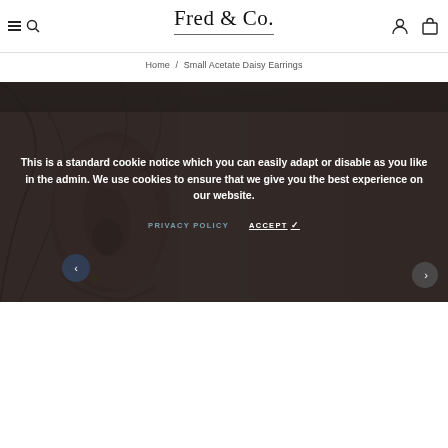Fred & Co.
Home / Small Acetate Daisy Earrings
[Figure (photo): Close-up photo of a woman's ear wearing a small gold daisy earring, partially obscured by a dark cookie consent overlay]
This is a standard cookie notice which you can easily adapt or disable as you like in the admin. We use cookies to ensure that we give you the best experience on our website.
PRIVACY POLICY   ACCEPT ✓